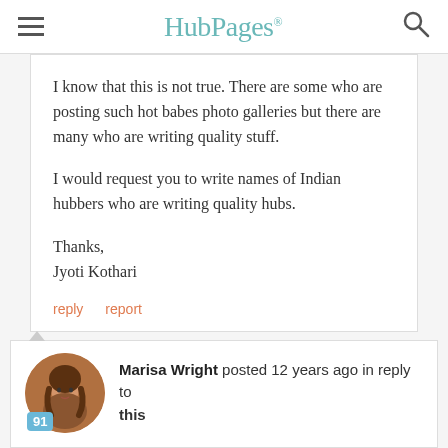HubPages
I know that this is not true. There are some who are posting such hot babes photo galleries but there are many who are writing quality stuff.

I would request you to write names of Indian hubbers who are writing quality hubs.

Thanks,
Jyoti Kothari
reply   report
Marisa Wright posted 12 years ago in reply to this